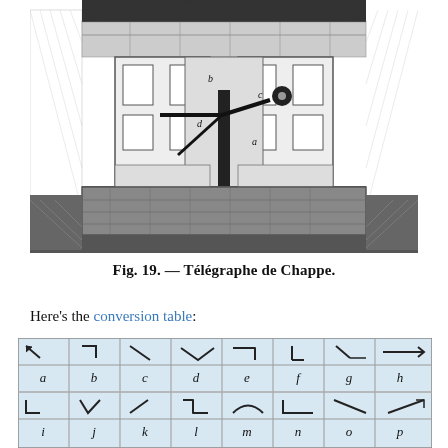[Figure (illustration): Engraving of the Chappe telegraph station interior, showing the mechanical semaphore apparatus with labeled parts a, b, c, d inside a building with arched windows and brick walls.]
Fig. 19. — Télégraphe de Chappe.
Here's the conversion table:
[Figure (table-as-image): Conversion table showing Chappe telegraph semaphore symbols for letters a through h (top row) and i through p (bottom row), drawn on grid paper with hand-drawn symbols above each letter.]